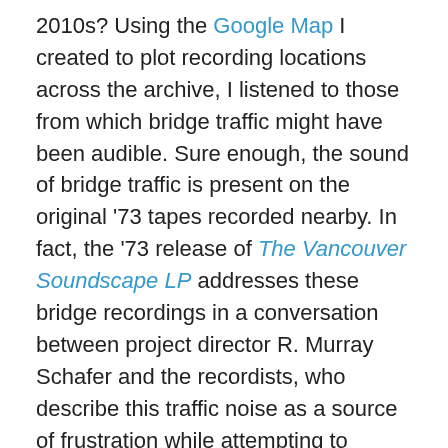2010s? Using the Google Map I created to plot recording locations across the archive, I listened to those from which bridge traffic might have been audible. Sure enough, the sound of bridge traffic is present on the original '73 tapes recorded nearby. In fact, the '73 release of The Vancouver Soundscape LP addresses these bridge recordings in a conversation between project director R. Murray Schafer and the recordists, who describe this traffic noise as a source of frustration while attempting to capture the sound of tinkling masts from the boats in the marina beneath.
Here the message seems clear: traffic noise is blight upon more valued sounds in and around the city. This position is corroborated by the very cover of the LP that features a graphic representation of a soundwave from a recording of chirping frogs interrupted by a passing car, the example of urban imbalance with which Schafer concludes the final